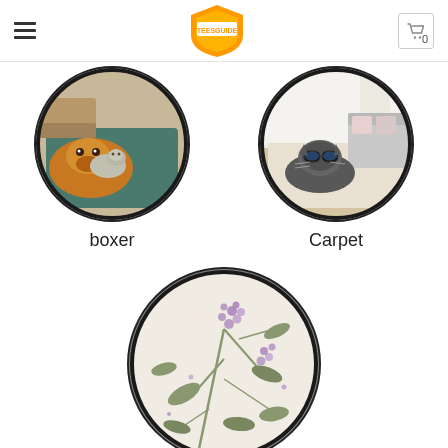TeesGuide — navigation header with logo and cart
[Figure (photo): Circular product image showing a boxer dog lying on a teal area rug in a living room setting]
boxer
[Figure (photo): Circular product image showing a cat wearing sunglasses on a cream-colored area rug in a bright living room]
Carpet
[Figure (photo): Circular product image showing a floral patterned rug with botanical motif of leaves and purple flowers on light background]
floral